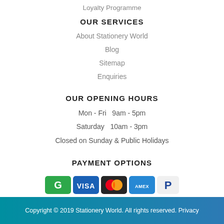Loyalty Programme
OUR SERVICES
About Stationery World
Blog
Sitemap
Enquiries
OUR OPENING HOURS
Mon - Fri   9am - 5pm
Saturday   10am - 3pm
Closed on Sunday & Public Holidays
PAYMENT OPTIONS
[Figure (other): Payment icons: Google Pay, Visa, Mastercard, Amex, PayPal]
Credit Terms
Copyright © 2019 Stationery World. All rights reserved. Privacy